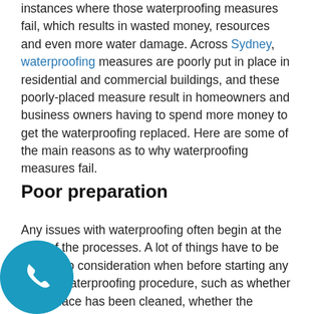instances where those waterproofing measures fail, which results in wasted money, resources and even more water damage. Across Sydney, waterproofing measures are poorly put in place in residential and commercial buildings, and these poorly-placed measure result in homeowners and business owners having to spend more money to get the waterproofing replaced. Here are some of the main reasons as to why waterproofing measures fail.
Poor preparation
Any issues with waterproofing often begin at the start of the processes. A lot of things have to be taken into consideration when before starting any type of waterproofing procedure, such as whether the surface has been cleaned, whether the surface is level and whether the surface drains water effectively. All of these measures are especially important for